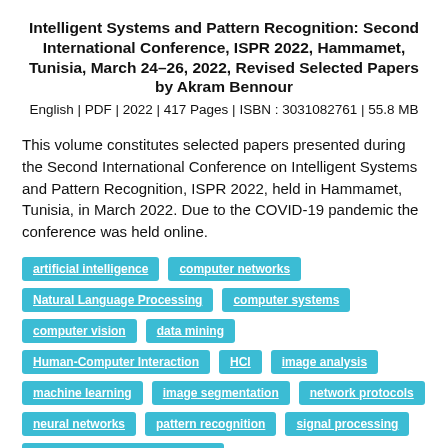Intelligent Systems and Pattern Recognition: Second International Conference, ISPR 2022, Hammamet, Tunisia, March 24–26, 2022, Revised Selected Papers by Akram Bennour
English | PDF | 2022 | 417 Pages | ISBN : 3031082761 | 55.8 MB
This volume constitutes selected papers presented during the Second International Conference on Intelligent Systems and Pattern Recognition, ISPR 2022, held in Hammamet, Tunisia, in March 2022. Due to the COVID-19 pandemic the conference was held online.
artificial intelligence
computer networks
Natural Language Processing
computer systems
computer vision
data mining
Human-Computer Interaction
HCI
image analysis
machine learning
image segmentation
network protocols
neural networks
pattern recognition
signal processing
Automated Pattern Recognition